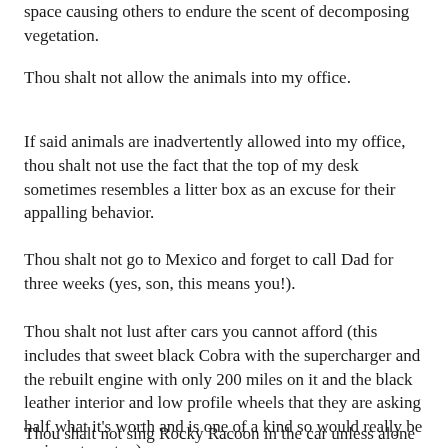space causing others to endure the scent of decomposing vegetation.
Thou shalt not allow the animals into my office.
If said animals are inadvertently allowed into my office, thou shalt not use the fact that the top of my desk sometimes resembles a litter box as an excuse for their appalling behavior.
Thou shalt not go to Mexico and forget to call Dad for three weeks (yes, son, this means you!).
Thou shalt not lust after cars you cannot afford (this includes that sweet black Cobra with the supercharger and the rebuilt engine with only 200 miles on it and the black leather interior and low profile wheels that they are asking half what it's worth and is one of a kind so would really be an investment....).
Thou shalt not sing Rocky Racoon in the car unless alone (why everyone groans is beyond me, but obviously it cause